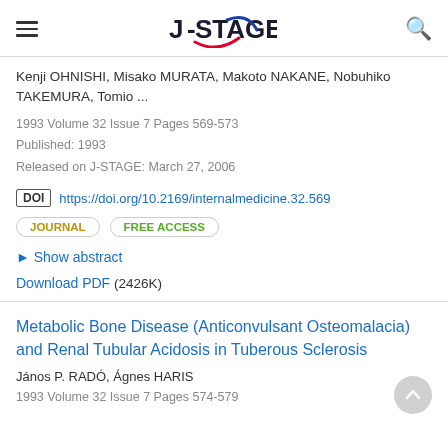J-STAGE
Kenji OHNISHI, Misako MURATA, Makoto NAKANE, Nobuhiko TAKEMURA, Tomio ...
1993 Volume 32 Issue 7 Pages 569-573
Published: 1993
Released on J-STAGE: March 27, 2006
DOI https://doi.org/10.2169/internalmedicine.32.569
JOURNAL  FREE ACCESS
Show abstract
Download PDF (2426K)
Metabolic Bone Disease (Anticonvulsant Osteomalacia) and Renal Tubular Acidosis in Tuberous Sclerosis
János P. RADÓ, Ágnes HARIS
1993 Volume 32 Issue 7 Pages 574-579